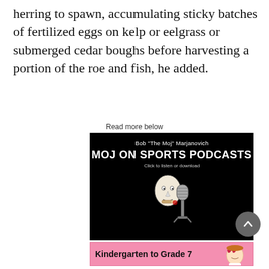herring to spawn, accumulating sticky batches of fertilized eggs on kelp or eelgrass or submerged cedar boughs before harvesting a portion of the roe and fish, he added.
Read more below
[Figure (illustration): Advertisement for Bob 'The Moj' Marjanovich - MOJ ON SPORTS PODCASTS. Black background with white text and an illustration of a bald man with a cigar and a vintage microphone. Text reads 'Click to listen or download'.]
[Figure (illustration): Advertisement banner with pink background reading 'Kindergarten to Grade 7' with an image of a child wearing heart-shaped sunglasses.]